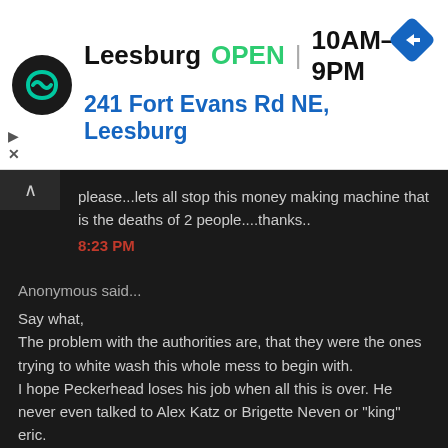[Figure (screenshot): Ad banner for a store location in Leesburg showing logo, OPEN status, hours 10AM-9PM, address 241 Fort Evans Rd NE Leesburg, and navigation arrow icon]
please...lets all stop this money making machine that is the deaths of 2 people....thanks..
8:23 PM
Anonymous said...
Say what,
The problem with the authorities are, that they were the ones trying to white wash this whole mess to begin with.
I hope Peckerhead loses his job when all this is over. He never even talked to Alex Katz or Brigette Neven or "king" eric.
I mean, really!
8:25 PM